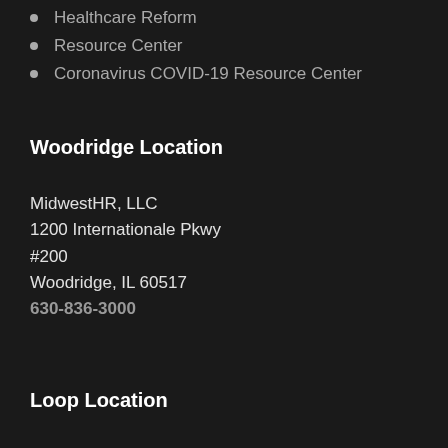Healthcare Reform
Resource Center
Coronavirus COVID-19 Resource Center
Woodridge Location
MidwestHR, LLC
1200 Internationale Pkwy
#200
Woodridge, IL 60517
630-836-3000
Loop Location
MidwestHR, LLC